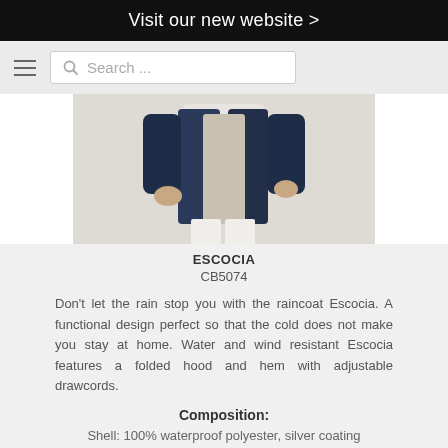Visit our new website >
[Figure (screenshot): Navigation bar with hamburger menu and search box]
[Figure (photo): Product photo of Escocia raincoat, model wearing navy blue jacket with white trousers]
ESCOCIA
CB5074
Don't let the rain stop you with the raincoat Escocia. A functional design perfect so that the cold does not make you stay at home. Water and wind resistant Escocia features a folded hood and hem with adjustable drawcords.
Composition:
Shell: 100% waterproof polyester, silver coating treatment, 70 gsm.
Available in 5 sizes and 4 colours
Access full model information